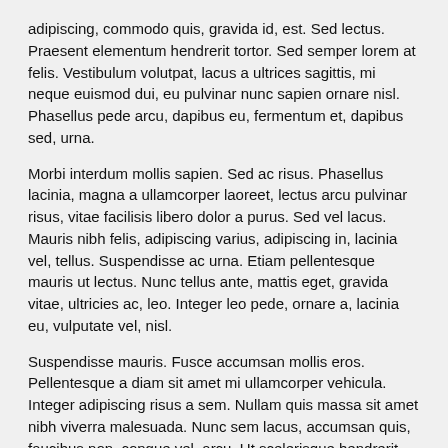adipiscing, commodo quis, gravida id, est. Sed lectus. Praesent elementum hendrerit tortor. Sed semper lorem at felis. Vestibulum volutpat, lacus a ultrices sagittis, mi neque euismod dui, eu pulvinar nunc sapien ornare nisl. Phasellus pede arcu, dapibus eu, fermentum et, dapibus sed, urna.
Morbi interdum mollis sapien. Sed ac risus. Phasellus lacinia, magna a ullamcorper laoreet, lectus arcu pulvinar risus, vitae facilisis libero dolor a purus. Sed vel lacus. Mauris nibh felis, adipiscing varius, adipiscing in, lacinia vel, tellus. Suspendisse ac urna. Etiam pellentesque mauris ut lectus. Nunc tellus ante, mattis eget, gravida vitae, ultricies ac, leo. Integer leo pede, ornare a, lacinia eu, vulputate vel, nisl.
Suspendisse mauris. Fusce accumsan mollis eros. Pellentesque a diam sit amet mi ullamcorper vehicula. Integer adipiscing risus a sem. Nullam quis massa sit amet nibh viverra malesuada. Nunc sem lacus, accumsan quis, faucibus non, congue vel, arcu. Ut scelerisque hendrerit tellus. Integer sagittis. Vivamus a mauris eget arcu gravida tristique. Nunc iaculis mi in ante. Vivamus imperdiet nibh feugiat est.
Ut convallis, sem sit amet interdum consectetuer, odio augue aliquam leo, nec dapibus tortor nibh sed augue. Integer eu magna sit amet metus fermentum posuere. Morbi sit amet nulla sed dolor elementum imperdiet.